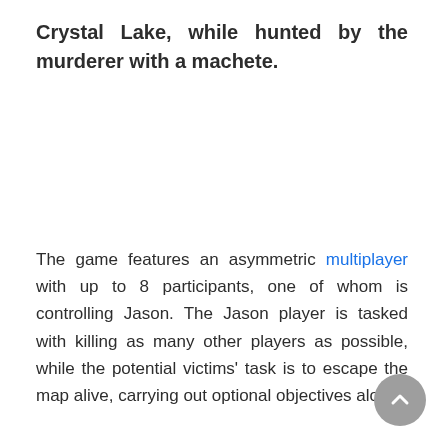Crystal Lake, while hunted by the murderer with a machete.
The game features an asymmetric multiplayer with up to 8 participants, one of whom is controlling Jason. The Jason player is tasked with killing as many other players as possible, while the potential victims' task is to escape the map alive, carrying out optional objectives along